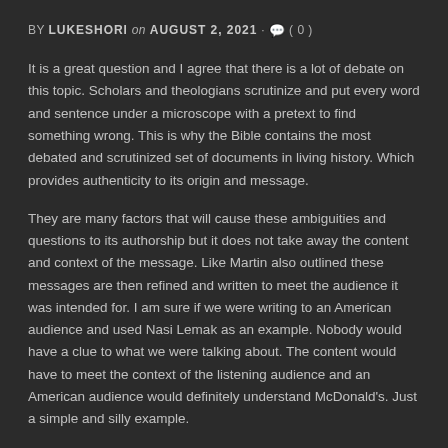BY LUKESHORI on AUGUST 2, 2021 · 💬 ( 0 )
It is a great question and I agree that there is a lot of debate on this topic. Scholars and theologians scrutinize and put every word and sentence under a microscope with a pretext to find something wrong. This is why the Bible contains the most debated and scrutinized set of documents in living history. Which provides authenticity to its origin and message.
They are many factors that will cause these ambiguities and questions to its authorship but it does not take away the content and context of the message. Like Martin also outlined these messages are then refined and written to meet the audience it was intended for. I am sure if we were writing to an American audience and used Nasi Lemak as an example. Nobody would have a clue to what we were talking about. The content would have to meet the context of the listening audience and an American audience would definitely understand McDonald's. Just a simple and silly example.
I believe that no matter how much emphasis is placed on authorship the reality of the overall message matters most. The